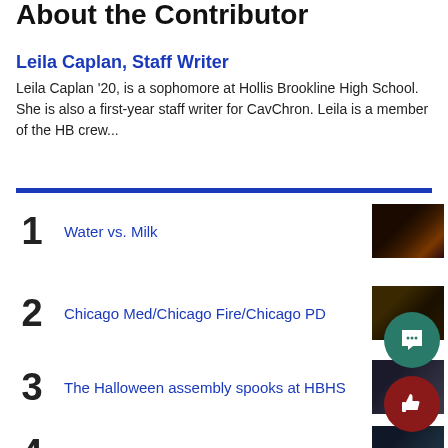About the Contributor
Leila Caplan, Staff Writer
Leila Caplan '20, is a sophomore at Hollis Brookline High School. She is also a first-year staff writer for CavChron. Leila is a member of the HB crew...
1  Water vs. Milk
2  Chicago Med/Chicago Fire/Chicago PD
3  The Halloween assembly spooks at HBHS
4  Morgan Wallen Doesn't Miss